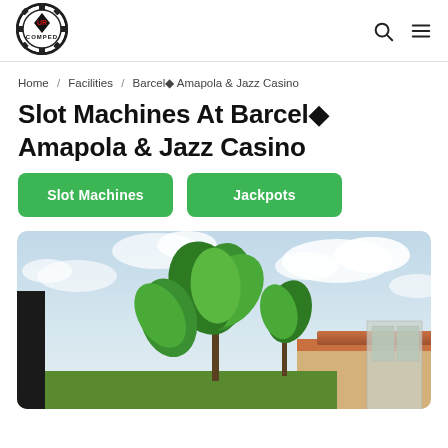[Figure (logo): UR Comped logo — circular casino chip style badge with text UR COMPED]
UR COMPED — navigation bar with search and menu icons
Home / Facilities / Barceló Amapola & Jazz Casino
Slot Machines At Barceló Amapola & Jazz Casino
Slot Machines  Jackpots
[Figure (photo): Exterior tropical resort view with palm trees, sky with clouds, and red-tiled rooftop building]